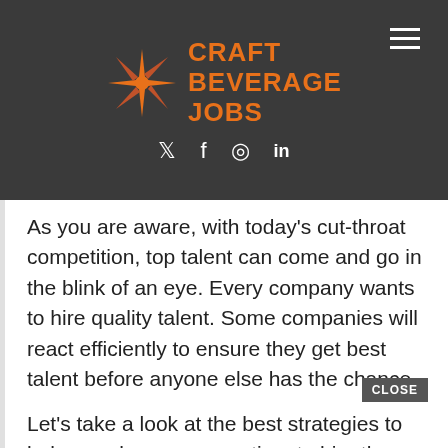CRAFT BEVERAGE JOBS
As you are aware, with today's cut-throat competition, top talent can come and go in the blink of an eye. Every company wants to hire quality talent. Some companies will react efficiently to ensure they get best talent before anyone else has the chance.
Let's take a look at the best strategies to help you decrease your time to hire the best candidates: